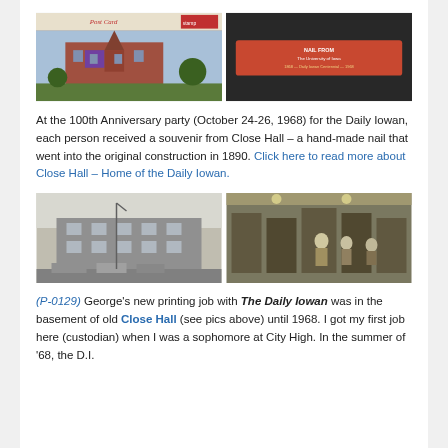[Figure (photo): Two photos side by side: left shows a vintage postcard of a red brick Victorian building; right shows a red box labeled 'NAIL FROM Close Hall, The University of Iowa, 1868 - Daily Iowan Centennial - 1968']
At the 100th Anniversary party (October 24-26, 1968) for the Daily Iowan, each person received a souvenir from Close Hall – a hand-made nail that went into the original construction in 1890. Click here to read more about Close Hall – Home of the Daily Iowan.
[Figure (photo): Two black and white photos side by side: left shows an exterior view of Close Hall building; right shows workers in a printing room with typesetting equipment]
(P-0129) George's new printing job with The Daily Iowan was in the basement of old Close Hall (see pics above) until 1968. I got my first job here (custodian) when I was a sophomore at City High. In the summer of '68, the D.I.